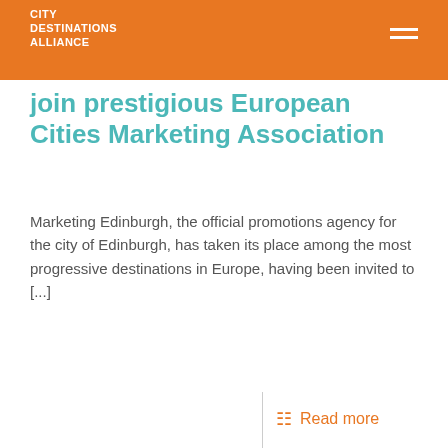CITY DESTINATIONS ALLIANCE
join prestigious European Cities Marketing Association
Marketing Edinburgh, the official promotions agency for the city of Edinburgh, has taken its place among the most progressive destinations in Europe, having been invited to [...]
Read more